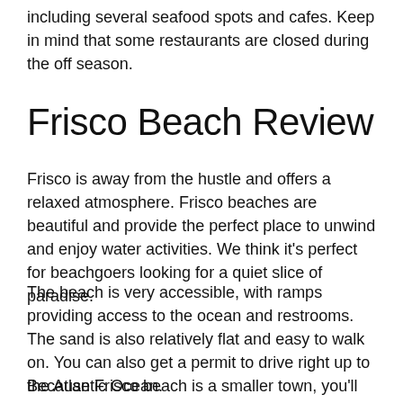including several seafood spots and cafes. Keep in mind that some restaurants are closed during the off season.
Frisco Beach Review
Frisco is away from the hustle and offers a relaxed atmosphere. Frisco beaches are beautiful and provide the perfect place to unwind and enjoy water activities. We think it's perfect for beachgoers looking for a quiet slice of paradise.
The beach is very accessible, with ramps providing access to the ocean and restrooms. The sand is also relatively flat and easy to walk on. You can also get a permit to drive right up to the Atlantic Ocean.
Because Frisco beach is a smaller town, you'll find more shops and equipment rentals nearby in Hatteras proper or Buxton.